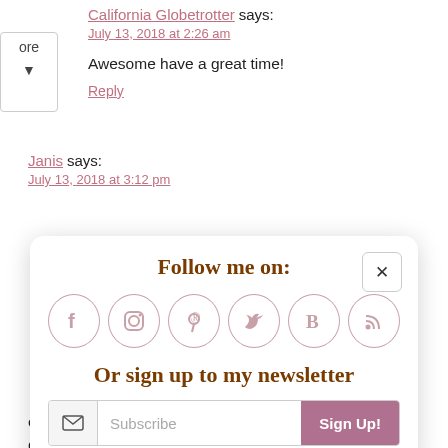California Globetrotter says:
July 13, 2018 at 2:26 am
Awesome have a great time!
Reply
Janis says:
July 13, 2018 at 3:12 pm
[Figure (infographic): Follow me on: modal overlay with social media icons (Facebook, Instagram, Pinterest, Twitter, Bloglovin, RSS), newsletter signup with Subscribe input and Sign Up! button, close button marked with x]
explanations of all the different foods. The Germans sure do love their pork, don't they? I've been to